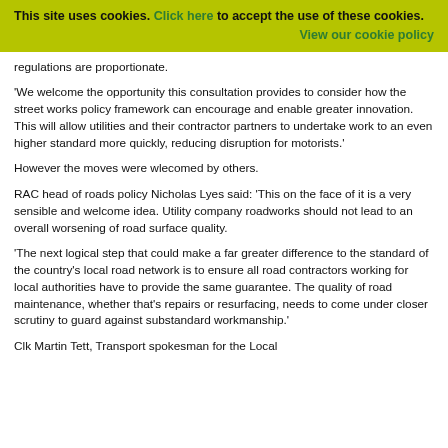This site uses cookies. Click here to accept the use of these cookies. View our cookie policy
regulations are proportionate.
'We welcome the opportunity this consultation provides to consider how the street works policy framework can encourage and enable greater innovation. This will allow utilities and their contractor partners to undertake work to an even higher standard more quickly, reducing disruption for motorists.'
However the moves were wlecomed by others.
RAC head of roads policy Nicholas Lyes said: 'This on the face of it is a very sensible and welcome idea. Utility company roadworks should not lead to an overall worsening of road surface quality.
'The next logical step that could make a far greater difference to the standard of the country's local road network is to ensure all road contractors working for local authorities have to provide the same guarantee. The quality of road maintenance, whether that's repairs or resurfacing, needs to come under closer scrutiny to guard against substandard workmanship.'
Clk Martin Tett, Transport spokesman for the Local